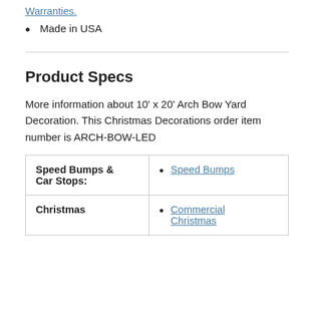Warranties.
Made in USA
Product Specs
More information about 10' x 20' Arch Bow Yard Decoration. This Christmas Decorations order item number is ARCH-BOW-LED
| Speed Bumps & Car Stops: | Speed Bumps |
| Christmas | Commercial Christmas |